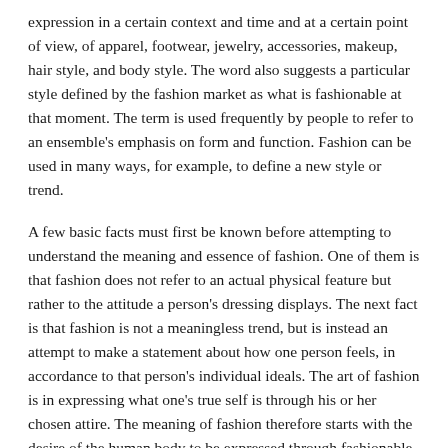expression in a certain context and time and at a certain point of view, of apparel, footwear, jewelry, accessories, makeup, hair style, and body style. The word also suggests a particular style defined by the fashion market as what is fashionable at that moment. The term is used frequently by people to refer to an ensemble's emphasis on form and function. Fashion can be used in many ways, for example, to define a new style or trend.
A few basic facts must first be known before attempting to understand the meaning and essence of fashion. One of them is that fashion does not refer to an actual physical feature but rather to the attitude a person's dressing displays. The next fact is that fashion is not a meaningless trend, but is instead an attempt to make a statement about how one person feels, in accordance to that person's individual ideals. The art of fashion is in expressing what one's true self is through his or her chosen attire. The meaning of fashion therefore starts with the desire of the human body to be expressed through fashionable dressing.